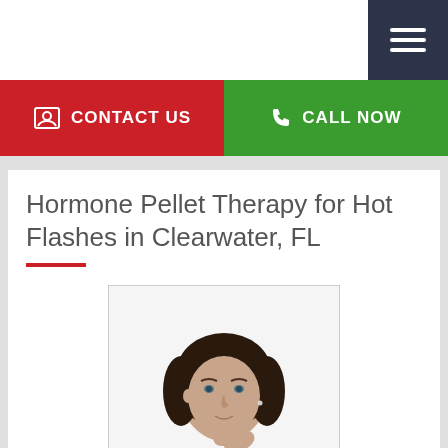Navigation bar with hamburger menu
CONTACT US
CALL NOW
Hormone Pellet Therapy for Hot Flashes in Clearwater, FL
[Figure (photo): Middle-aged woman with dark hair touching her neck, appearing uncomfortable, wearing a light pink top, white background]